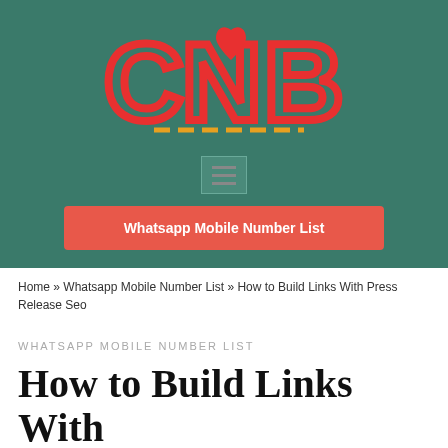[Figure (logo): CNB logo with large red letters C, N, B and a red heart shape, with yellow dashed underline on dark teal background]
Whatsapp Mobile Number List
Home » Whatsapp Mobile Number List » How to Build Links With Press Release Seo
WHATSAPP MOBILE NUMBER LIST
How to Build Links With